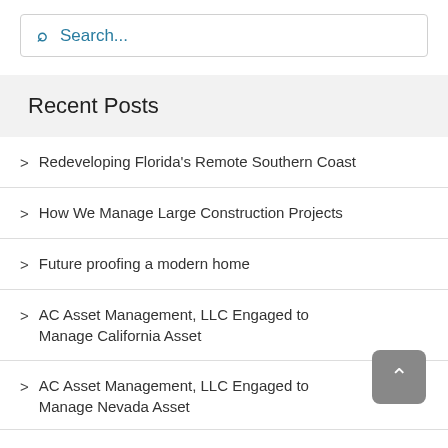Search...
Recent Posts
Redeveloping Florida's Remote Southern Coast
How We Manage Large Construction Projects
Future proofing a modern home
AC Asset Management, LLC Engaged to Manage California Asset
AC Asset Management, LLC Engaged to Manage Nevada Asset